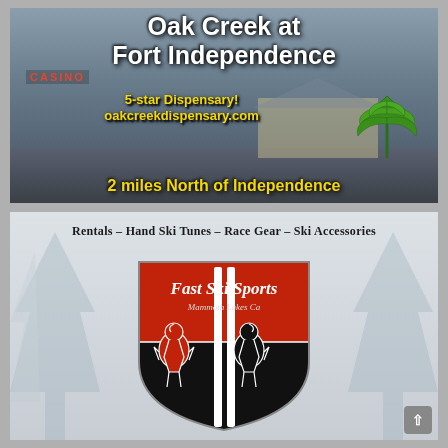[Figure (infographic): Advertisement for Oak Creek at Fort Independence cannabis dispensary. Shows a photo of a building with mountains in background, CASINO sign visible on left, green cannabis leaf graphic on right. Text reads: Oak Creek at Fort Independence, 5-star Dispensary!, oakcreekdispensary.com, 2 miles North of Independence.]
[Figure (infographic): Advertisement for Fast Ski Sports, Mammoth Lakes CA. White/grey background with snowy trees. Text at top: Rentals - Hand Ski Tunes - Race Gear - Ski Accessories. Logo shows red and black shield with two heraldic lions holding ski poles, text Fast Ski Sports Mammoth Lakes Ca.]